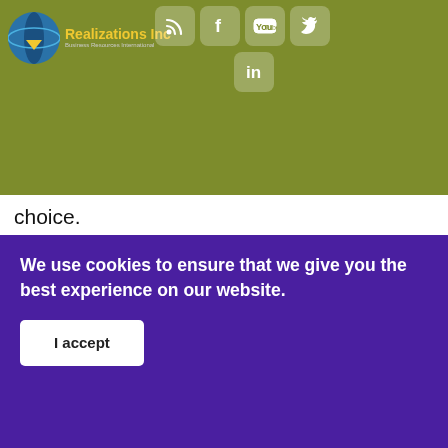Realizations Inc — Business Resources International
choice.
When partners experience discord, it may be that their sensory preferences differ. For example, the visual may dress
We use cookies to ensure that we give you the best experience on our website.